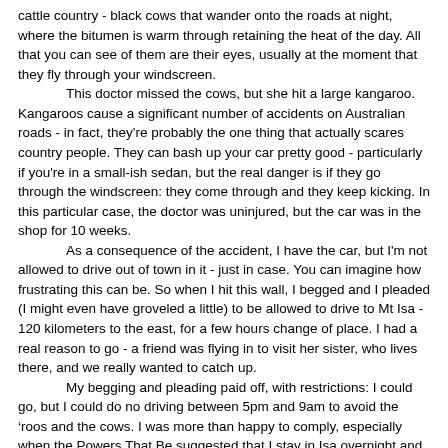cattle country - black cows that wander onto the roads at night, where the bitumen is warm through retaining the heat of the day. All that you can see of them are their eyes, usually at the moment that they fly through your windscreen.

This doctor missed the cows, but she hit a large kangaroo. Kangaroos cause a significant number of accidents on Australian roads - in fact, they're probably the one thing that actually scares country people. They can bash up your car pretty good - particularly if you're in a small-ish sedan, but the real danger is if they go through the windscreen: they come through and they keep kicking. In this particular case, the doctor was uninjured, but the car was in the shop for 10 weeks.

As a consequence of the accident, I have the car, but I'm not allowed to drive out of town in it - just in case. You can imagine how frustrating this can be. So when I hit this wall, I begged and I pleaded (I might even have groveled a little) to be allowed to drive to Mt Isa - 120 kilometers to the east, for a few hours change of place. I had a real reason to go - a friend was flying in to visit her sister, who lives there, and we really wanted to catch up.

My begging and pleading paid off, with restrictions: I could go, but I could do no driving between 5pm and 9am to avoid the ‘roos and the cows. I was more than happy to comply, especially when the Powers That Be suggested that I stay in Isa overnight and drive back the next day,